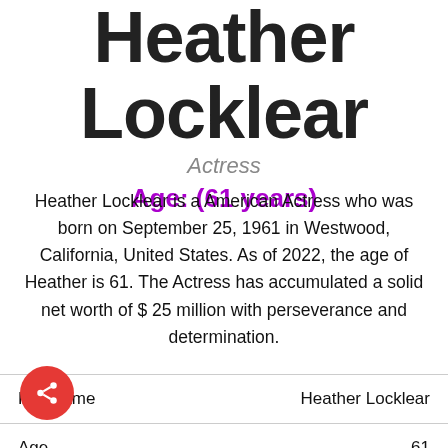Heather Locklear
Actress
Age: (61 years)
Heather Locklear is a American Actress who was born on September 25, 1961 in Westwood, California, United States. As of 2022, the age of Heather is 61. The Actress has accumulated a solid net worth of $ 25 million with perseverance and determination.
| Full Name | Heather Locklear |
| --- | --- |
| Age | 61 |